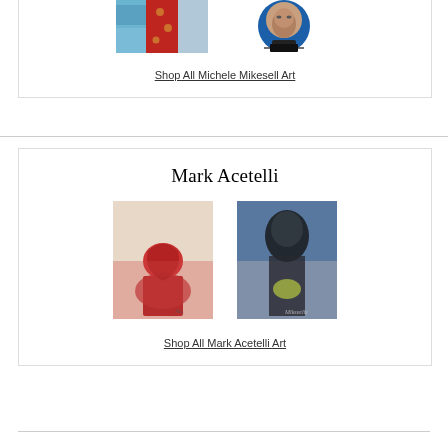[Figure (photo): Two artworks by Michele Mikesell — left: abstract red and blue painting with yellow dots; right: circular artwork with face on dark background]
Shop All Michele Mikesell Art
Mark Acetelli
[Figure (photo): Two artworks by Mark Acetelli — left: abstract figure in red and dark tones; right: abstract portrait with blue and dark tones]
Shop All Mark Acetelli Art